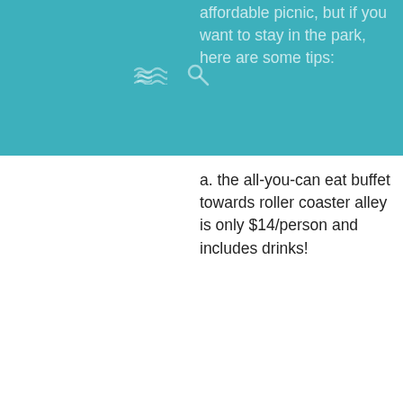affordable picnic, but if you want to stay in the park, here are some tips:
a. the all-you-can eat buffet towards roller coaster alley is only $14/person and includes drinks!
b. lindy's restaurant is
Subscribe to Silverwood Express
Name
Email
Submit